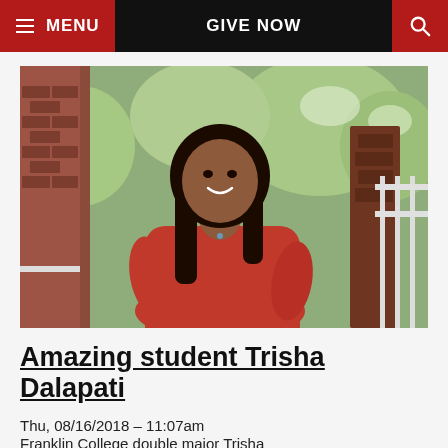MENU  GIVE NOW  [search]
[Figure (photo): Young woman with long dark hair smiling, wearing a red top, standing outdoors near brick wall and white fence with greenery in background.]
Amazing student Trisha Dalapati
Thu, 08/16/2018 – 11:07am
Franklin College double major Trisha